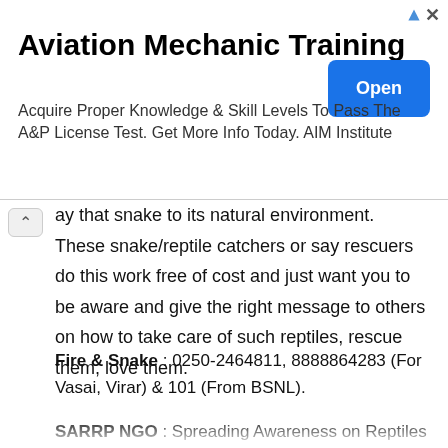[Figure (other): Advertisement banner for Aviation Mechanic Training from AIM Institute with an Open button]
ay that snake to its natural environment. These snake/reptile catchers or say rescuers do this work free of cost and just want you to be aware and give the right message to others on how to take care of such reptiles, rescue them, love them.
Fire & Snake : 0250-2464811, 8888864283 (For Vasai, Virar) & 101 (From BSNL).
SARRP NGO : Spreading Awareness on Reptiles and Rehabilitation program.
Contact Santosh Shinde (President): 9769335531 and 9821134056. Alternately Another helpline is of Jaywant Dob...